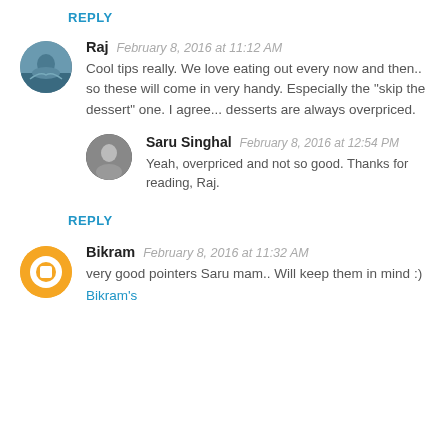REPLY
Raj  February 8, 2016 at 11:12 AM
Cool tips really. We love eating out every now and then.. so these will come in very handy. Especially the "skip the dessert" one. I agree... desserts are always overpriced.
Saru Singhal  February 8, 2016 at 12:54 PM
Yeah, overpriced and not so good. Thanks for reading, Raj.
REPLY
Bikram  February 8, 2016 at 11:32 AM
very good pointers Saru mam.. Will keep them in mind :)
Bikram's